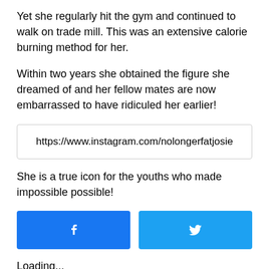Yet she regularly hit the gym and continued to walk on trade mill. This was an extensive calorie burning method for her.
Within two years she obtained the figure she dreamed of and her fellow mates are now embarrassed to have ridiculed her earlier!
https://www.instagram.com/nolongerfatjosie
She is a true icon for the youths who made impossible possible!
[Figure (other): Facebook and Twitter share buttons]
Loading...